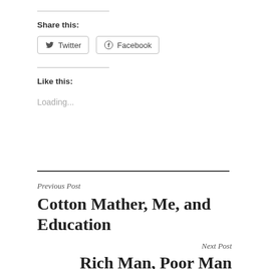Share this:
[Figure (other): Twitter and Facebook social share buttons]
Like this:
Loading...
Previous Post
Cotton Mather, Me, and Education
Next Post
Rich Man, Poor Man